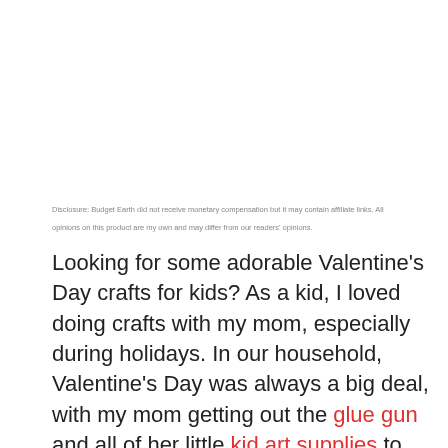Disclosure: Budget Earth did not receive monetary compensation but it may contain affiliate links. All opinions on this product are my own and may differ from our readers' opinions.
Looking for some adorable Valentine's Day crafts for kids? As a kid, I loved doing crafts with my mom, especially during holidays. In our household, Valentine's Day was always a big deal, with my mom getting out the glue gun and all of her little kid art supplies to help me make a fun 'mail box'. I'm not sure if they still do it today, but every kid would decorate a shoe box into a mailbox so all of us could deliver our Valentine's Day cards to other kids in the class. As well, our teachers usually had